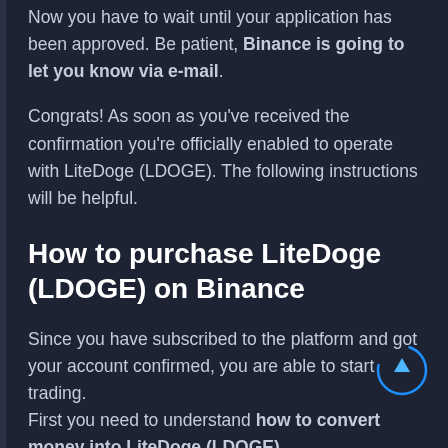Now you have to wait until your application has been approved. Be patient, Binance is going to let you know via e-mail.
Congrats! As soon as you've received the confirmation you're officially enabled to operate with LiteDoge (LDOGE). The following instructions will be helpful.
How to purchase LiteDoge (LDOGE) on Binance
Since you have subscribed to the platform and got your account confirmed, you are able to start trading. First you need to understand how to convert money into LiteDoge (LDOGE).